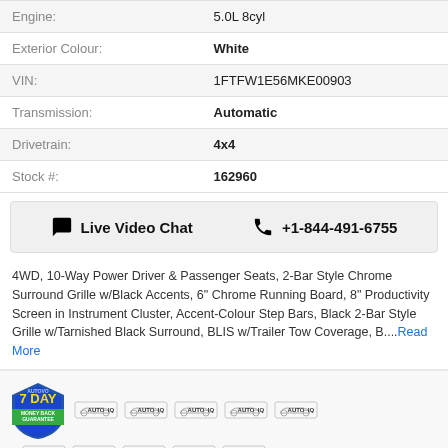| Label | Value |
| --- | --- |
| Engine: | 5.0L 8cyl |
| Exterior Colour: | White |
| VIN: | 1FTFW1E56MKE00903 |
| Transmission: | Automatic |
| Drivetrain: | 4x4 |
| Stock #: | 162960 |
Live Video Chat   +1-844-491-6755
4WD, 10-Way Power Driver & Passenger Seats, 2-Bar Style Chrome Surround Grille w/Black Accents, 6" Chrome Running Board, 8" Productivity Screen in Instrument Cluster, Accent-Colour Step Bars, Black 2-Bar Style Grille w/Tarnished Black Surround, BLIS w/Trailer Tow Coverage, B....Read More
[Figure (other): Gallery section with 7 Day Money Back Guarantee badge and AutoIQ logo thumbnails, plus partial vehicle image at bottom]